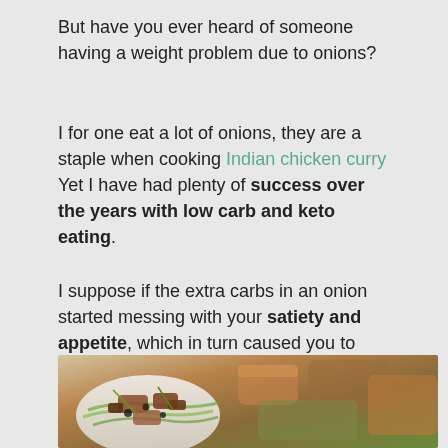But have you ever heard of someone having a weight problem due to onions?
I for one eat a lot of onions, they are a staple when cooking Indian chicken curry Yet I have had plenty of success over the years with low carb and keto eating.
I suppose if the extra carbs in an onion started messing with your satiety and appetite, which in turn caused you to overeat something else, you may have a problem.
[Figure (photo): Photo of a food dish, appears to be a salad or Asian-style dish with greens, meat/protein, and garnishes on a plate]